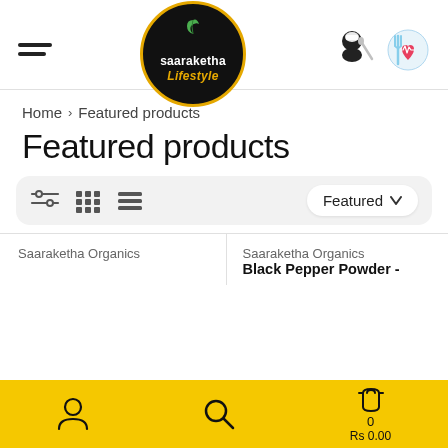[Figure (logo): Saaraketha Lifestyle logo — black circle with gold border, white text 'saaraketha' and gold italic 'Lifestyle', green leaf accent]
Home › Featured products
Featured products
[Figure (infographic): Toolbar with filter/grid/list view icons on the left and a 'Featured' dropdown button on the right]
Saaraketha Organics
Saaraketha Organics
Black Pepper Powder -
[Figure (infographic): Yellow bottom navigation bar with user icon, search icon, and cart icon showing 0 items and Rs 0.00]